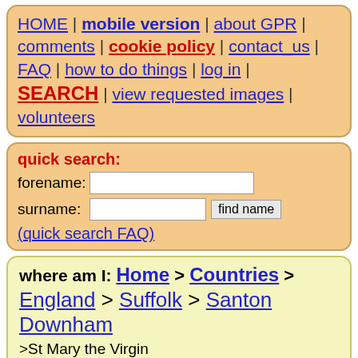HOME | mobile version | about GPR | comments | cookie policy | contact_us | FAQ | how to do things | log in | SEARCH | view requested images | volunteers
quick search: forename: surname: find name (quick search FAQ)
where am I: Home > Countries > England > Suffolk > Santon Downham >St Mary the Virgin
google ad